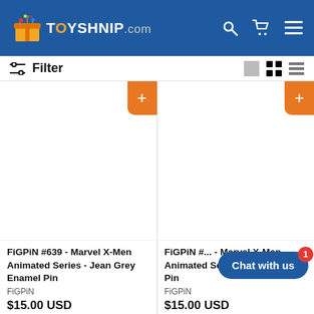TOYSHNIP.COM
Filter
[Figure (screenshot): Product card for FiGPiN #639 - Marvel X-Men Animated Series - Jean Grey Enamel Pin, brand FiGPiN, price $15.00 USD, with orange add-to-cart button]
[Figure (screenshot): Product card for FiGPiN #... - Marvel X-Men Animated Series - ... Enamel Pin, brand FiGPiN, price $15.00 USD, with orange add-to-cart button (partially visible)]
Chat with us